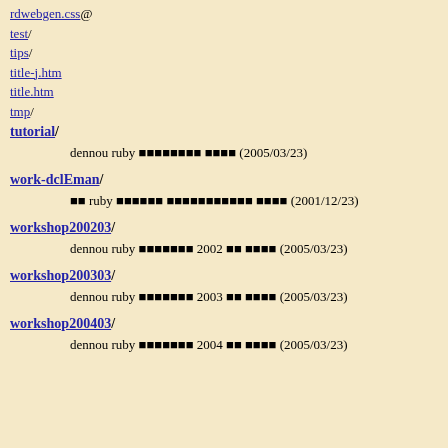rdwebgen.css@
test/
tips/
title-j.htm
title.htm
tmp/
tutorial/
dennou ruby ■■■■■■■■ ■■■■ (2005/03/23)
work-dclEman/
■■ ruby ■■■■■■ ■■■■■■■■■■■ ■■■■ (2001/12/23)
workshop200203/
dennou ruby ■■■■■■■ 2002 ■■ ■■■■ (2005/03/23)
workshop200303/
dennou ruby ■■■■■■■ 2003 ■■ ■■■■ (2005/03/23)
workshop200403/
dennou ruby ■■■■■■■ 2004 ■■ ■■■■ (2005/03/23)